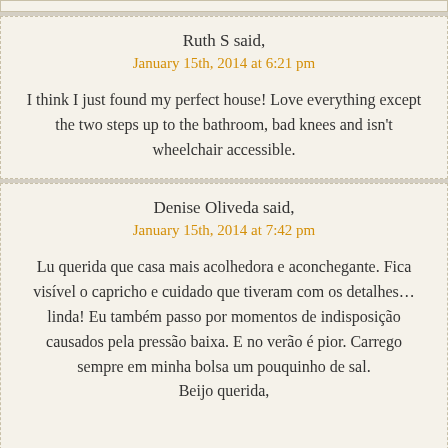Ruth S said,
January 15th, 2014 at 6:21 pm
I think I just found my perfect house! Love everything except the two steps up to the bathroom, bad knees and isn't wheelchair accessible.
Denise Oliveda said,
January 15th, 2014 at 7:42 pm
Lu querida que casa mais acolhedora e aconchegante. Fica visível o capricho e cuidado que tiveram com os detalhes… linda! Eu também passo por momentos de indisposição causados pela pressão baixa. E no verão é pior. Carrego sempre em minha bolsa um pouquinho de sal. Beijo querida,